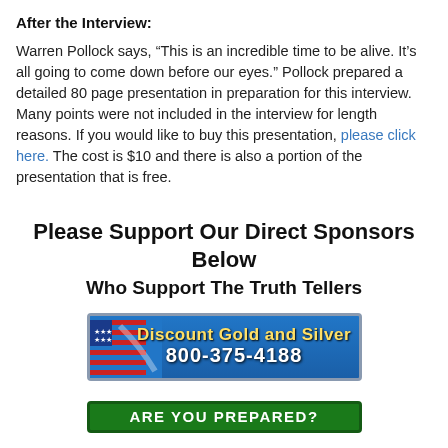After the Interview:
Warren Pollock says, “This is an incredible time to be alive. It’s all going to come down before our eyes.” Pollock prepared a detailed 80 page presentation in preparation for this interview. Many points were not included in the interview for length reasons. If you would like to buy this presentation, please click here. The cost is $10 and there is also a portion of the presentation that is free.
Please Support Our Direct Sponsors Below
Who Support The Truth Tellers
[Figure (illustration): Discount Gold and Silver banner ad with American flag graphic and phone number 800-375-4188 on blue background]
[Figure (illustration): Green banner ad with text 'ARE YOU PREPARED?' in white capital letters]